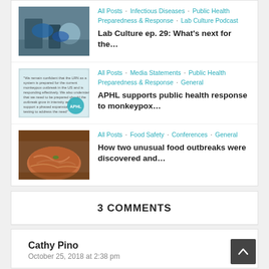[Figure (screenshot): Post item: lab/science photo thumbnail with categories and title]
All Posts • Infectious Diseases • Public Health Preparedness & Response • Lab Culture Podcast
Lab Culture ep. 29: What's next for the…
All Posts • Media Statements • Public Health Preparedness & Response • General
APHL supports public health response to monkeypox…
All Posts • Food Safety • Conferences • General
How two unusual food outbreaks were discovered and…
3 COMMENTS
Cathy Pino
October 25, 2018 at 2:38 pm